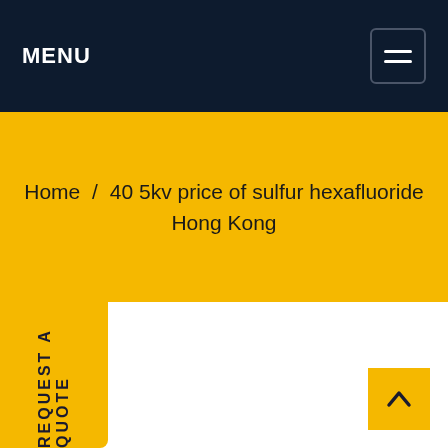MENU
Home / 40 5kv price of sulfur hexafluoride Hong Kong
REQUEST A QUOTE
[Figure (other): Back to top arrow button in yellow square]